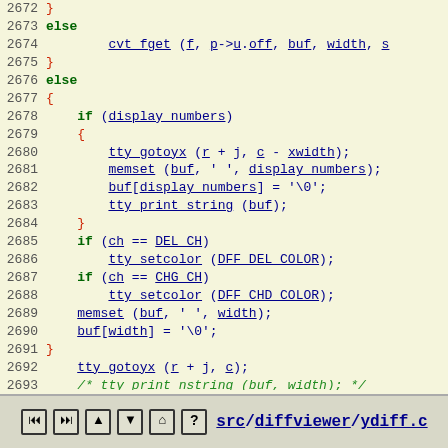[Figure (screenshot): Source code viewer showing C code from src/diffviewer/ydiff.c, lines 2672-2699, with syntax highlighting. Blue underlined identifiers, green bold keywords, red/dark-red braces and preprocessor directives. Footer navigation bar at bottom with icons and filename link.]
src/diffviewer/ydiff.c